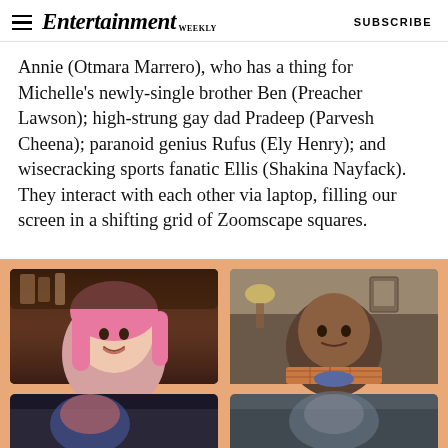Entertainment Weekly | SUBSCRIBE
Annie (Otmara Marrero), who has a thing for Michelle's newly-single brother Ben (Preacher Lawson); high-strung gay dad Pradeep (Parvesh Cheena); paranoid genius Rufus (Ely Henry); and wisecracking sports fanatic Ellis (Shakina Nayfack). They interact with each other via laptop, filling our screen in a shifting grid of Zoomscape squares.
[Figure (photo): A 2x2 grid of video call screenshots on a peach/salmon background showing four characters from the show in their respective home environments. Top left: a woman with pink hair in front of a bar. Top right: a man in a plaid shirt in a home setting. Bottom left and right: partially visible, darker scenes.]